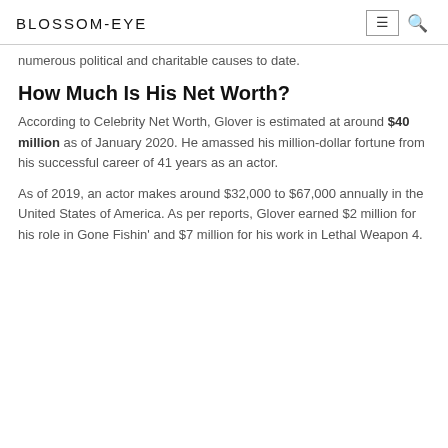BLOSSOM-EYE
numerous political and charitable causes to date.
How Much Is His Net Worth?
According to Celebrity Net Worth, Glover is estimated at around $40 million as of January 2020. He amassed his million-dollar fortune from his successful career of 41 years as an actor.
As of 2019, an actor makes around $32,000 to $67,000 annually in the United States of America. As per reports, Glover earned $2 million for his role in Gone Fishin' and $7 million for his work in Lethal Weapon 4.